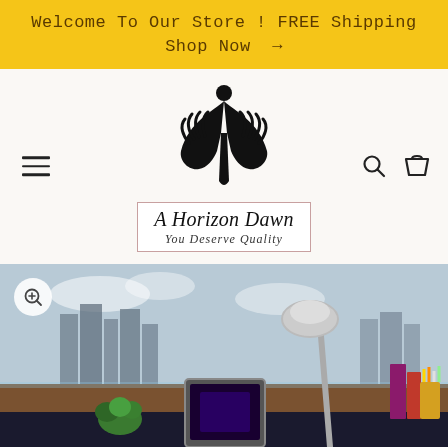Welcome To Our Store ! FREE Shipping Shop Now →
[Figure (logo): A Horizon Dawn logo: stylized human figure with raised hands above, text 'A Horizon Dawn' and 'You Deserve Quality' in italic serif inside a bordered box]
[Figure (photo): A desk lamp with metallic gooseneck and round head, a tablet, a small plant and books/pencils on a desk with a city skyline visible through a window in the background]